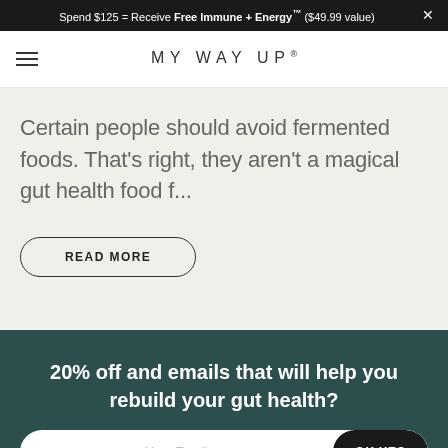Spend $125 = Receive Free Immune + Energy™ ($49.99 value)  ×
MY WAY UP®
Certain people should avoid fermented foods. That's right, they aren't a magical gut health food f...
READ MORE
20% off and emails that will help you rebuild your gut health?
Your Email ... OK YES